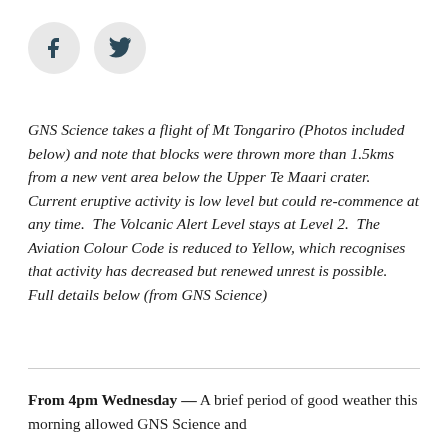[Figure (other): Social media share icons: Facebook (f) and Twitter (bird) as grey circles]
GNS Science takes a flight of Mt Tongariro (Photos included below) and note that blocks were thrown more than 1.5kms from a new vent area below the Upper Te Maari crater.  Current eruptive activity is low level but could re-commence at any time.  The Volcanic Alert Level stays at Level 2.  The Aviation Colour Code is reduced to Yellow, which recognises that activity has decreased but renewed unrest is possible.  Full details below (from GNS Science)
From 4pm Wednesday — A brief period of good weather this morning allowed GNS Science and